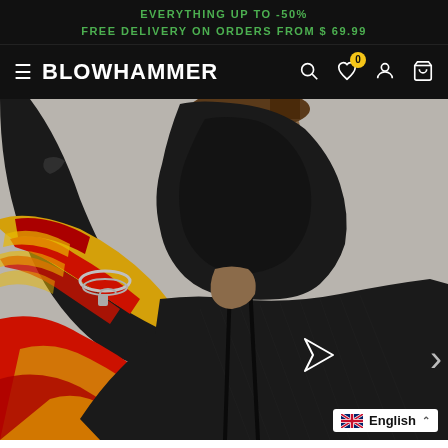EVERYTHING UP TO -50%
FREE DELIVERY ON ORDERS FROM $ 69.99
≡ BLOWHAMMER
[Figure (photo): A man wearing a black hoodie with colorful red and yellow patterned sleeves, with a chain bracelet and tattoos, posed against a light grey background. The Blowhammer logo (triangle arrow) is visible on the chest.]
🇬🇧 English